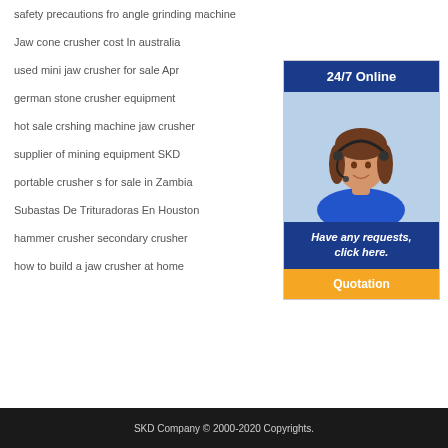safety precautions fro angle grinding machine
Jaw cone crusher cost In australia
used mini jaw crusher for sale Apr
german stone crusher equipment
hot sale crshing machine jaw crusher
supplier of mining equipment SKD
portable crusher s for sale in Zambia
Subastas De Trituradoras En Houston
hammer crusher secondary crusher
how to build a jaw crusher at home
[Figure (illustration): Customer service representative wearing headset, used for 24/7 online support widget with blue header, photo of woman, and orange Quotation button]
SKD Company © 2000-2020 Copyrights.